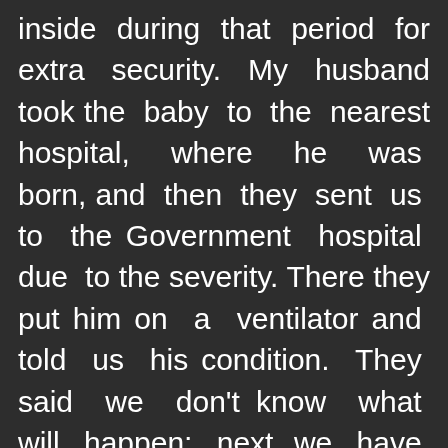inside during that period for extra security. My husband took the baby to the nearest hospital, where he was born, and then they sent us to the Government hospital due to the severity. There they put him on a ventilator and told us his condition. They said we don’t know what will happen; next, we have to wait and monitor him because there is no medicine for the burn. It will heal itself. How much time it will take to heal and what will be the results of healing we